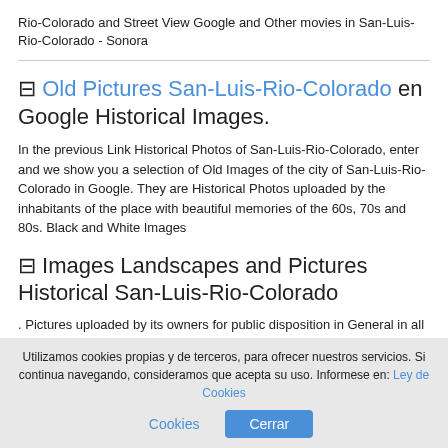Rio-Colorado and Street View Google and Other movies in San-Luis-Rio-Colorado - Sonora
⊟ Old Pictures San-Luis-Rio-Colorado en Google Historical Images.
In the previous Link Historical Photos of San-Luis-Rio-Colorado, enter and we show you a selection of Old Images of the city of San-Luis-Rio-Colorado in Google. They are Historical Photos uploaded by the inhabitants of the place with beautiful memories of the 60s, 70s and 80s. Black and White Images
⊟ Images Landscapes and Pictures Historical San-Luis-Rio-Colorado
. Pictures uploaded by its owners for public disposition in General in all the countries of the world. San-Luis-Rio-Colorado images
Utilizamos cookies propias y de terceros, para ofrecer nuestros servicios. Si continua navegando, consideramos que acepta su uso. Informese en: Ley de Cookies